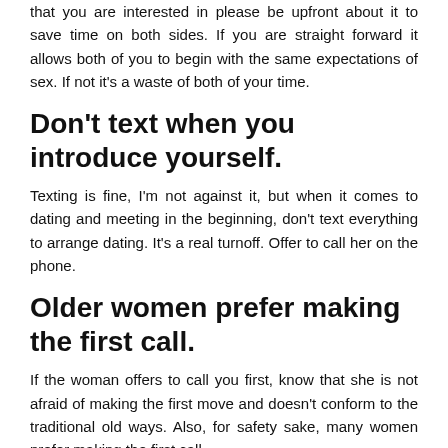that you are interested in please be upfront about it to save time on both sides. If you are straight forward it allows both of you to begin with the same expectations of sex. If not it's a waste of both of your time.
Don't text when you introduce yourself.
Texting is fine, I'm not against it, but when it comes to dating and meeting in the beginning, don't text everything to arrange dating. It's a real turnoff. Offer to call her on the phone.
Older women prefer making the first call.
If the woman offers to call you first, know that she is not afraid of making the first move and doesn't conform to the traditional old ways. Also, for safety sake, many women prefer making the first call.
Don't tell your real last